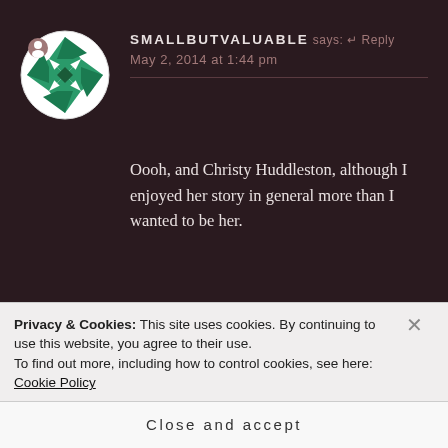[Figure (illustration): Round avatar icon with green geometric quilt-pattern design on white background, with a small user icon badge]
SMALLBUTVALUABLE says: Reply
May 2, 2014 at 1:44 pm
Oooh, and Christy Huddleston, although I enjoyed her story in general more than I wanted to be her.
[Figure (illustration): Round avatar icon with green and white leaf/fan pattern design]
BETTY KIESEWETTER says: ↰ Reply
Privacy & Cookies: This site uses cookies. By continuing to use this website, you agree to their use.
To find out more, including how to control cookies, see here: Cookie Policy
Close and accept